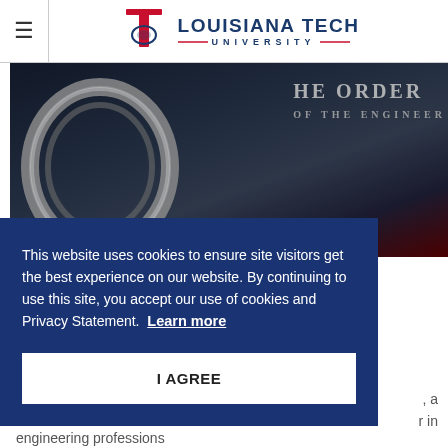Louisiana Tech University
[Figure (photo): A metallic ring/ring ceremony object in front of a backdrop reading 'The Order of the Engineer']
This website uses cookies to ensure site visitors get the best experience on our website. By continuing to use this site, you accept our use of cookies and Privacy Statement. Learn more
I AGREE
engineering professions